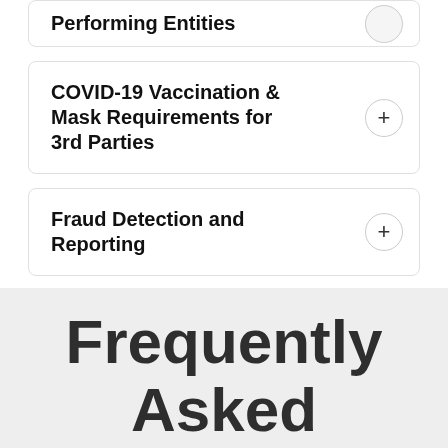Performing Entities
COVID-19 Vaccination & Mask Requirements for 3rd Parties
Fraud Detection and Reporting
Frequently Asked Questions